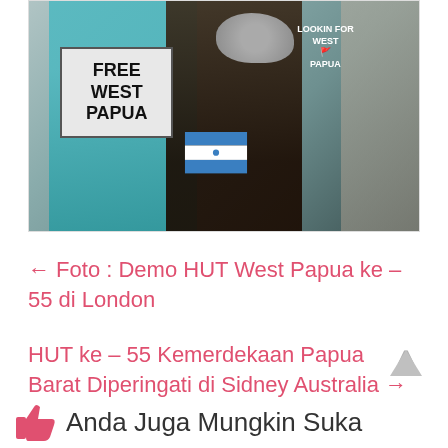[Figure (photo): Protest photo showing demonstrators holding a 'FREE WEST PAPUA' sign and a person in a 'LOOKIN FOR WEST PAPUA' t-shirt holding a megaphone]
← Foto : Demo HUT West Papua ke – 55 di London
HUT ke – 55 Kemerdekaan Papua Barat Diperingati di Sidney Australia →
Anda Juga Mungkin Suka